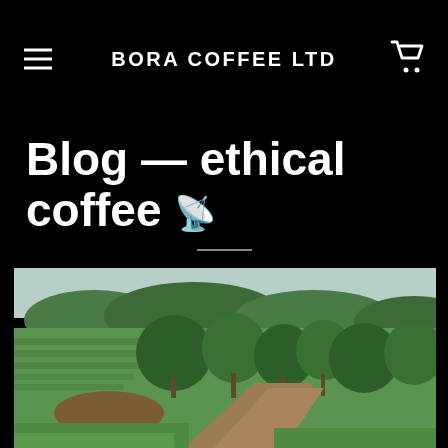BORA COFFEE LTD
Blog — ethical coffee ᯤ
[Figure (photo): Outdoor photo of a coffee plantation showing rows of green coffee plants, trees, and a dirt path running through the field under an overcast sky.]